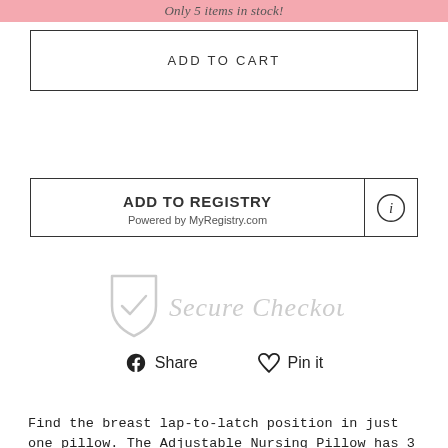Only 5 items in stock!
ADD TO CART
ADD TO REGISTRY
Powered by MyRegistry.com
[Figure (illustration): Secure Checkout badge with shield icon and checkmark]
Share  Pin it
Find the breast lap-to-latch position in just one pillow. The Adjustable Nursing Pillow has 3 interchangeable layers to help you find the right height for your size, plus different cushioning